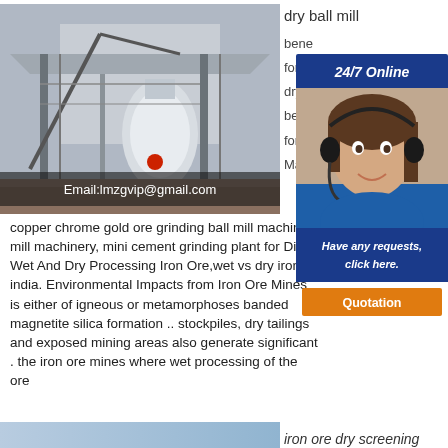[Figure (photo): Industrial mill/grinding machinery at construction site]
Email:lmzgvip@gmail.com
dry ball mill
bene
for i
dry b
bene
for i
Mac
[Figure (infographic): 24/7 Online chat popup with customer service representative wearing headset. Text: Have any requests, click here. Button: Quotation]
copper chrome gold ore grinding ball mill machine mill machinery, mini cement grinding plant for Diff Wet And Dry Processing Iron Ore,wet vs dry iron india. Environmental Impacts from Iron Ore Mines is either of igneous or metamorphoses banded magnetite silica formation .. stockpiles, dry tailings and exposed mining areas also generate significant . the iron ore mines where wet processing of the ore
[Figure (photo): Blue-tinted industrial image at bottom]
iron ore dry screening